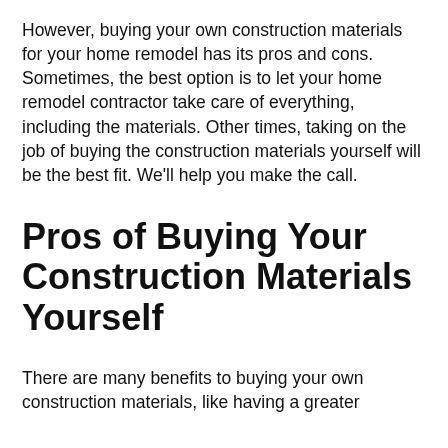However, buying your own construction materials for your home remodel has its pros and cons. Sometimes, the best option is to let your home remodel contractor take care of everything, including the materials. Other times, taking on the job of buying the construction materials yourself will be the best fit. We'll help you make the call.
Pros of Buying Your Construction Materials Yourself
There are many benefits to buying your own construction materials, like having a greater